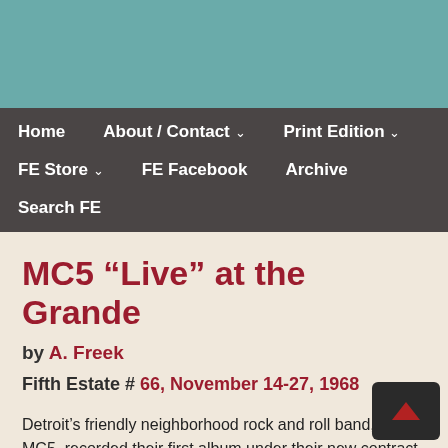Home | About / Contact | Print Edition | FE Store | FE Facebook | Archive | Search FE
MC5 “Live” at the Grande
by A. Freek
Fifth Estate # 66, November 14-27, 1968
Detroit’s friendly neighborhood rock and roll band, the MC5, recorded their first album under their new contract with Elektra Records at the Grande Ballroom